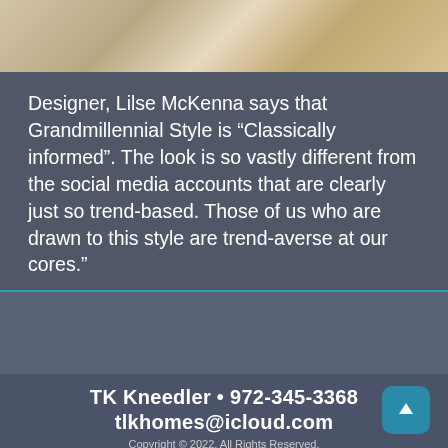[Figure (photo): Partial photo of an interior room showing upholstered furniture and decor, cropped at the top of the page]
Designer, Lilse McKenna says that Grandmillennial Style is “Classically informed”. The look is so vastly different from the social media accounts that are clearly just so trend-based. Those of us who are drawn to this style are trend-averse at our cores.”
TK Kneedler • 972-345-3368
tlkhomes@icloud.com
Copyright © 2022. All Rights Reserved.
Designed by Professional Affordable Website.